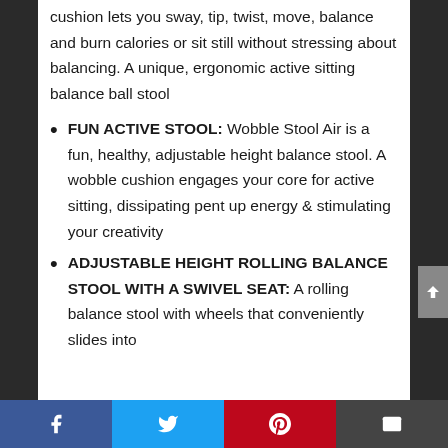cushion lets you sway, tip, twist, move, balance and burn calories or sit still without stressing about balancing. A unique, ergonomic active sitting balance ball stool
FUN ACTIVE STOOL: Wobble Stool Air is a fun, healthy, adjustable height balance stool. A wobble cushion engages your core for active sitting, dissipating pent up energy & stimulating your creativity
ADJUSTABLE HEIGHT ROLLING BALANCE STOOL WITH A SWIVEL SEAT: A rolling balance stool with wheels that conveniently slides into